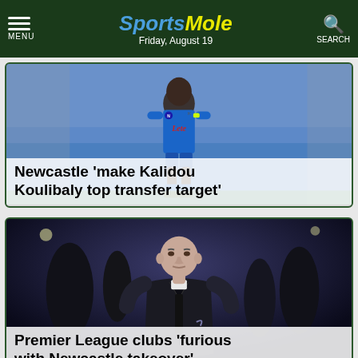Sports Mole — Friday, August 19
[Figure (photo): Kalidou Koulibaly in a blue Napoli kit, running on the pitch]
Newcastle 'make Kalidou Koulibaly top transfer target'
[Figure (photo): A man in a dark coat looking upward, standing on a football pitch, likely a manager]
Premier League clubs 'furious with Newcastle takeover'